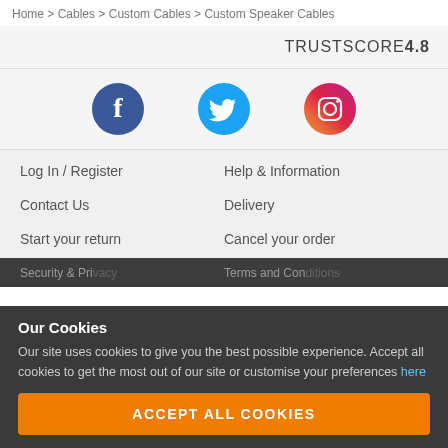Home > Cables > Custom Cables > Custom Speaker Cables
TRUSTSCORE 4.8
[Figure (logo): Facebook, Twitter, and Instagram social media icons]
Log In / Register
Help & Information
Contact Us
Delivery
Start your return
Cancel your order
Our Cookies
Our site uses cookies to give you the best possible experience. Accept all cookies to get the most out of our site or customise your preferences here
ACCEPT ALL COOKIES